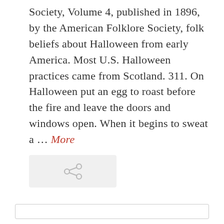Society, Volume 4, published in 1896, by the American Folklore Society, folk beliefs about Halloween from early America. Most U.S. Halloween practices came from Scotland. 311. On Halloween put an egg to roast before the fire and leave the doors and windows open. When it begins to sweat a … More
[Figure (other): A share/link button icon (two connected circles) on a light grey rounded rectangle background]
[Figure (other): An empty white rectangular box with a thin grey border, likely an advertisement placeholder]